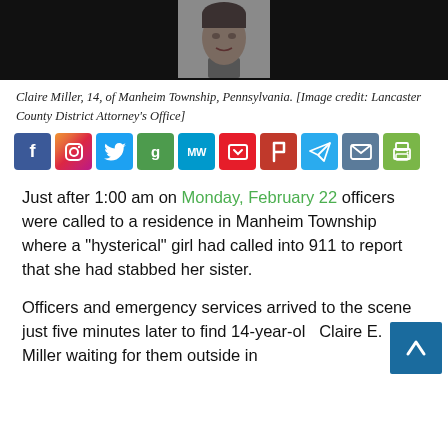[Figure (photo): Photo of Claire Miller, a young girl, shown from shoulders up against a dark background. Wide black banner behind the photo.]
Claire Miller, 14, of Manheim Township, Pennsylvania. [Image credit: Lancaster County District Attorney's Office]
[Figure (infographic): Row of 10 social media sharing icons: Facebook, Instagram, Twitter, Gab, MeWe, Parler, Frank, Telegram, Email, Print]
Just after 1:00 am on Monday, February 22 officers were called to a residence in Manheim Township where a "hysterical" girl had called into 911 to report that she had stabbed her sister.
Officers and emergency services arrived to the scene just five minutes later to find 14-year-old Claire E. Miller waiting for them outside in